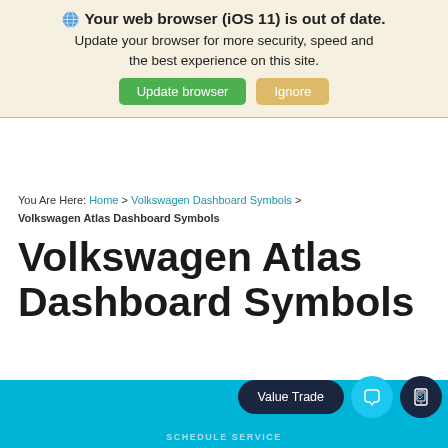🌐 Your web browser (iOS 11) is out of date. Update your browser for more security, speed and the best experience on this site. Update browser | Ignore
You Are Here: Home > Volkswagen Dashboard Symbols > Volkswagen Atlas Dashboard Symbols
Volkswagen Atlas Dashboard Symbols
Value Trade | SCHEDULE SERVICE